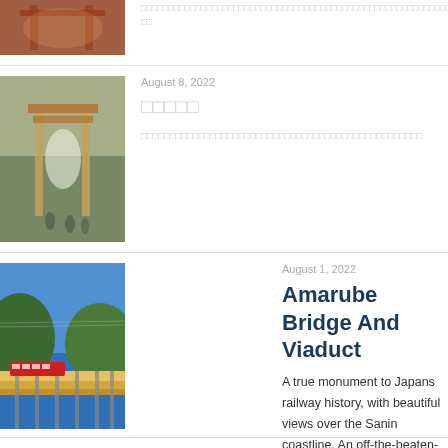[Figure (photo): Red shrine/temple gate interior with people walking, warm tones]
□□□□□□□□□□□□□□□□□□□□□□□□□□□□□□□□□□□□□□□□□□□□□□□□□
August 8, 2022
[Figure (photo): Torii gate in a forested park with people walking through it, muted tones]
□□□□□
□□□□□□□□□□□□□□□□□□□□□□□□□□□□□□□□□□□□□□□□□□□□□□
August 1, 2022
[Figure (photo): Red train on a viaduct bridge over the Sanin coastline with blue sea and green hills]
Amarube Bridge And Viaduct
A true monument to Japans railway history, with beautiful views over the Sanin coastline. An off-the-beaten-track destination worth a detour.
July 25, 2022
Toshogu Shrine In